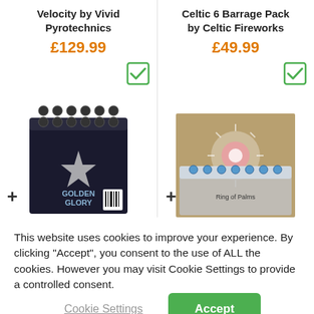Velocity by Vivid Pyrotechnics
£129.99
[Figure (photo): Firework barrage box product photo - black box labeled Golden Glory with circular tubes on top]
Celtic 6 Barrage Pack by Celtic Fireworks
£49.99
[Figure (photo): Firework barrage pack product photo - Celtic fireworks box with fireworks display on packaging]
This website uses cookies to improve your experience. By clicking "Accept", you consent to the use of ALL the cookies. However you may visit Cookie Settings to provide a controlled consent.
Cookie Settings
Accept